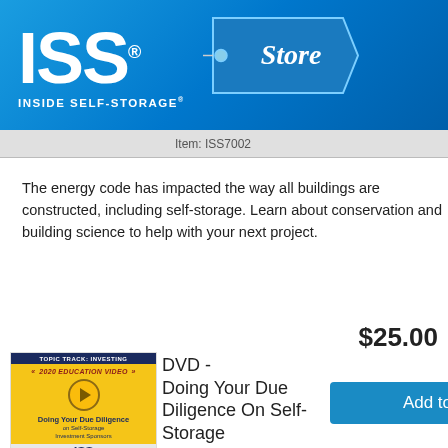[Figure (logo): ISS Inside Self-Storage Store logo on blue gradient background with white text and store price tag graphic]
Item: ISS7002
The energy code has impacted the way all buildings are constructed, including self-storage. Learn about conservation and building science to help with your next project.
$25.00
[Figure (photo): DVD cover for 'Doing Your Due Diligence on Self-Storage Investment Sponsors' - 2020 Education Video with yellow and dark blue design, ISS logo at bottom]
DVD - Doing Your Due Diligence On Self-Storage Investment Sponsors
Add to cart